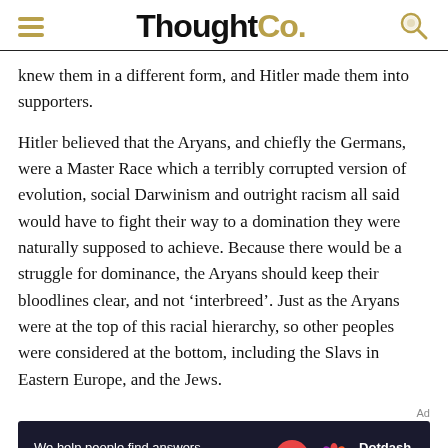ThoughtCo.
knew them in a different form, and Hitler made them into supporters.
Hitler believed that the Aryans, and chiefly the Germans, were a Master Race which a terribly corrupted version of evolution, social Darwinism and outright racism all said would have to fight their way to a domination they were naturally supposed to achieve. Because there would be a struggle for dominance, the Aryans should keep their bloodlines clear, and not ‘interbreed’. Just as the Aryans were at the top of this racial hierarchy, so other peoples were considered at the bottom, including the Slavs in Eastern Europe, and the Jews.
[Figure (other): Advertisement banner for Dotdash Meredith with text: We help people find answers, solve problems and get inspired.]